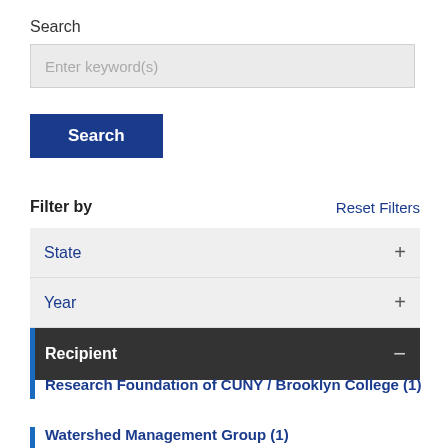Search
[Figure (screenshot): Search input box with placeholder text 'Enter keyword(s)']
[Figure (screenshot): Blue 'Search' button]
Filter by
Reset Filters
State +
Year +
Recipient -
Research Foundation of CUNY / Brooklyn College (1)
Watershed Management Group (1)